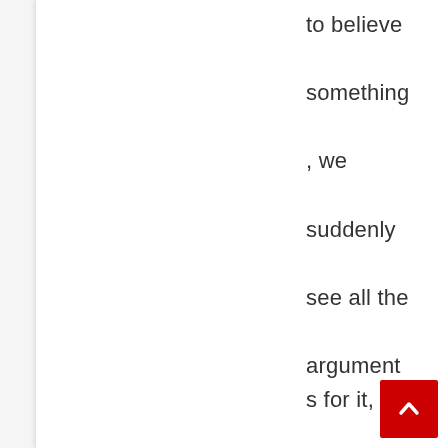to believe something, we suddenly see all the arguments for it, and become blind to the arguments against it." – George